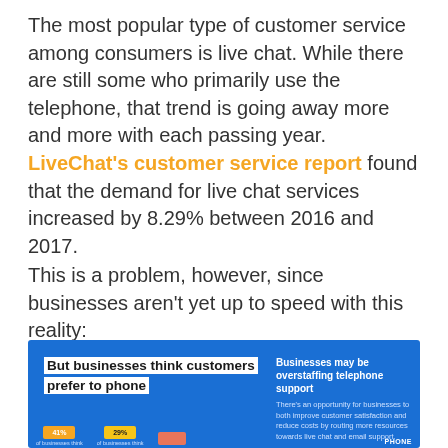The most popular type of customer service among consumers is live chat. While there are still some who primarily use the telephone, that trend is going away more and more with each passing year. LiveChat's customer service report found that the demand for live chat services increased by 8.29% between 2016 and 2017.
This is a problem, however, since businesses aren't yet up to speed with this reality:
[Figure (infographic): Blue infographic panel. Left side (white box text): 'But businesses think customers prefer to phone'. Right side: heading 'Businesses may be overstaffing telephone support' with body text 'There's an opportunity for businesses to both improve customer satisfaction and reduce costs by routing more resources towards live chat and email support.' Bottom row shows partial percentage badges (orange, amber, salmon) with small labels and 'PHONE' label at far right.]